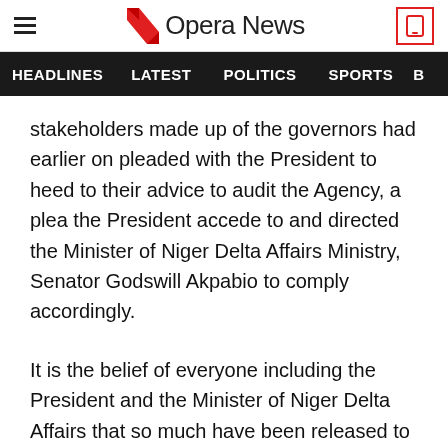Opera News
HEADLINES   LATEST   POLITICS   SPORTS   B
stakeholders made up of the governors had earlier on pleaded with the President to heed to their advice to audit the Agency, a plea the President accede to and directed the Minister of Niger Delta Affairs Ministry, Senator Godswill Akpabio to comply accordingly.
It is the belief of everyone including the President and the Minister of Niger Delta Affairs that so much have been released to the Agency in [past] and nothing on ground